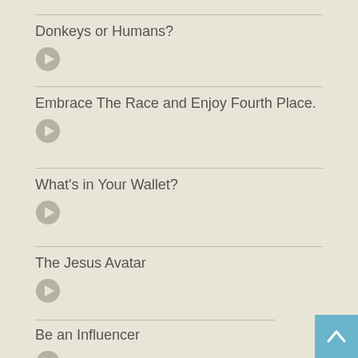Donkeys or Humans?
Embrace The Race and Enjoy Fourth Place.
What's in Your Wallet?
The Jesus Avatar
Be an Influencer